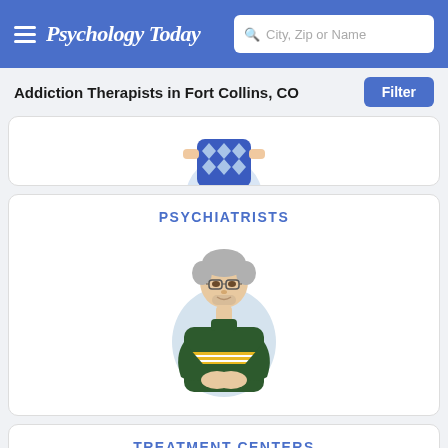Psychology Today — City, Zip or Name search
Addiction Therapists in Fort Collins, CO
[Figure (illustration): Partial illustration of a person in a blue patterned top, cropped at top of card]
[Figure (illustration): PSYCHIATRISTS card with illustration of older man with glasses in dark green sweater with yellow stripe, arms crossed, against light blue oval background]
PSYCHIATRISTS
[Figure (illustration): TREATMENT CENTERS card with illustration of tropical resort with palm trees and a pool]
TREATMENT CENTERS